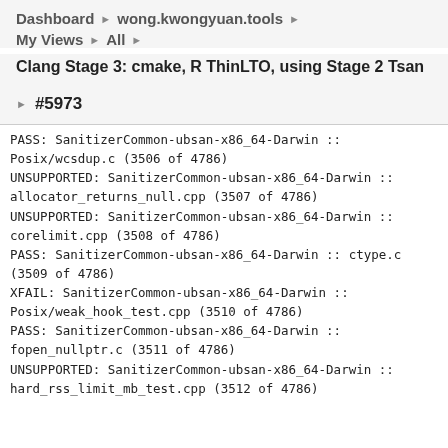Dashboard ▶ wong.kwongyuan.tools ▶
My Views ▶ All ▶
Clang Stage 3: cmake, R ThinLTO, using Stage 2 Tsan
#5973
PASS: SanitizerCommon-ubsan-x86_64-Darwin :: Posix/wcsdup.c (3506 of 4786)
UNSUPPORTED: SanitizerCommon-ubsan-x86_64-Darwin :: allocator_returns_null.cpp (3507 of 4786)
UNSUPPORTED: SanitizerCommon-ubsan-x86_64-Darwin :: corelimit.cpp (3508 of 4786)
PASS: SanitizerCommon-ubsan-x86_64-Darwin :: ctype.c (3509 of 4786)
XFAIL: SanitizerCommon-ubsan-x86_64-Darwin :: Posix/weak_hook_test.cpp (3510 of 4786)
PASS: SanitizerCommon-ubsan-x86_64-Darwin :: fopen_nullptr.c (3511 of 4786)
UNSUPPORTED: SanitizerCommon-ubsan-x86_64-Darwin :: hard_rss_limit_mb_test.cpp (3512 of 4786)